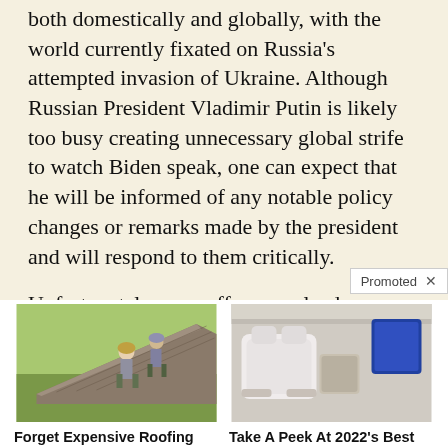both domestically and globally, with the world currently fixated on Russia's attempted invasion of Ukraine. Although Russian President Vladimir Putin is likely too busy creating unnecessary global strife to watch Biden speak, one can expect that he will be informed of any notable policy changes or remarks made by the president and will respond to them critically.
Unfortunately, our gaffe-prone lead
[Figure (photo): Two workers in harnesses working on a roof]
Forget Expensive Roofing (Do This Instead) - See Options
🔥 548
[Figure (photo): Luxury car interior with white leather seats and rear entertainment screen]
Take A Peek At 2022's Best SUVs For Seniors
🔥 4,287